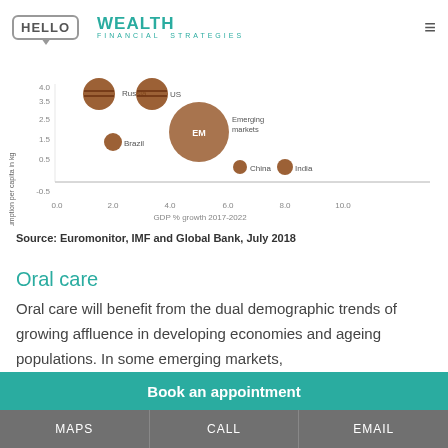HELLO WEALTH FINANCIAL STRATEGIES
[Figure (bubble-chart): Bubble chart showing chocolate consumption per capita (kg) vs GDP % growth 2017-2022 for Russia, US, Brazil, China, India, and Emerging markets (EM). Russia and US are near top at high consumption; Brazil mid; China and India low consumption higher GDP growth; EM large bubble at ~5.0 GDP, ~2.0 kg.]
Source: Euromonitor, IMF and Global Bank, July 2018
Oral care
Oral care will benefit from the dual demographic trends of growing affluence in developing economies and ageing populations. In some emerging markets,